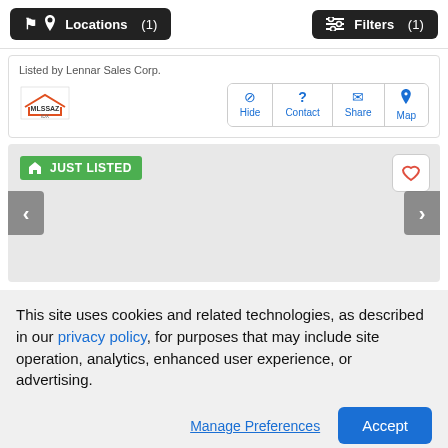[Figure (screenshot): Top navigation bar with two dark buttons: 'Locations (1)' with a map pin icon on the left, and 'Filters (1)' with a sliders icon on the right]
Listed by Lennar Sales Corp.
[Figure (logo): MLSSAZ IDX logo - a square logo with orange/red house outline and text 'MLSSAZ IDX']
[Figure (screenshot): Action buttons row: Hide (circle slash icon), Contact (question mark icon), Share (envelope icon), Map (pin icon) - all in blue]
[Figure (screenshot): Property listing image gallery area (light gray placeholder). Has a green 'JUST LISTED' badge with house icon at top left, a heart/favorite button at top right, and left/right navigation arrows on sides]
This site uses cookies and related technologies, as described in our privacy policy, for purposes that may include site operation, analytics, enhanced user experience, or advertising.
Manage Preferences
Accept